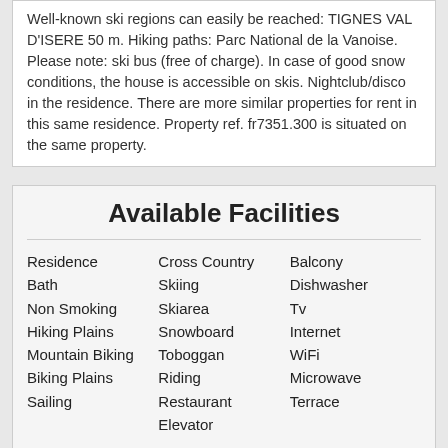Well-known ski regions can easily be reached: TIGNES VAL D'ISERE 50 m. Hiking paths: Parc National de la Vanoise. Please note: ski bus (free of charge). In case of good snow conditions, the house is accessible on skis. Nightclub/disco in the residence. There are more similar properties for rent in this same residence. Property ref. fr7351.300 is situated on the same property.
Available Facilities
Residence
Bath
Non Smoking
Hiking Plains
Mountain Biking
Biking Plains
Sailing
Cross Country
Skiing
Skiarea
Snowboard
Toboggan
Riding
Restaurant
Elevator
Balcony
Dishwasher
Tv
Internet
WiFi
Microwave
Terrace